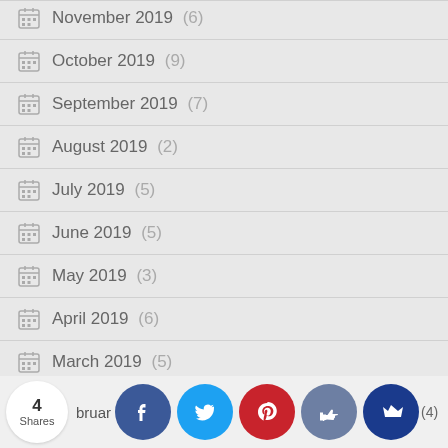November 2019 (6)
October 2019 (9)
September 2019 (7)
August 2019 (2)
July 2019 (5)
June 2019 (5)
May 2019 (3)
April 2019 (6)
March 2019 (5)
4 Shares  bruar... (4)  [social share buttons: Facebook, Twitter, Pinterest, Like, Crown]